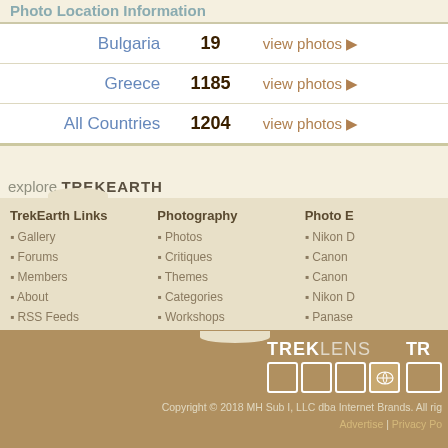Photo Location Information
| Country | Count | Action |
| --- | --- | --- |
| Bulgaria | 19 | view photos ▶ |
| Greece | 1185 | view photos ▶ |
| All Countries | 1204 | view photos ▶ |
explore TREKEARTH
TrekEarth Links
Gallery
Forums
Members
About
RSS Feeds
Photography
Photos
Critiques
Themes
Categories
Workshops
Photo E
Nikon D
Canon
Canon
Nikon D
Panase
[Figure (logo): TrekLens logo with photo grid boxes]
[Figure (logo): TR logo (partially visible)]
Copyright © 2018 MH Sub I, LLC dba Internet Brands. All rig  Advertise | Privacy Po